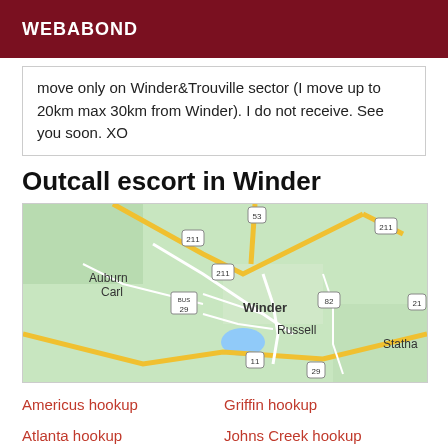WEBABOND
move only on Winder&Trouville sector (I move up to 20km max 30km from Winder). I do not receive. See you soon. XO
Outcall escort in Winder
[Figure (map): Google Maps view of Winder, Georgia area showing routes 211, 53, 82, 29, 11 and nearby towns Auburn, Carl, Russell, Statham]
Americus hookup
Griffin hookup
Atlanta hookup
Johns Creek hookup
Bainbridge hookup
Panthersville hookup